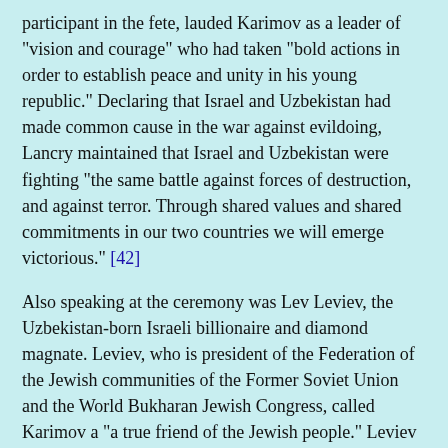participant in the fete, lauded Karimov as a leader of "vision and courage" who had taken "bold actions in order to establish peace and unity in his young republic." Declaring that Israel and Uzbekistan had made common cause in the war against evildoing, Lancry maintained that Israel and Uzbekistan were fighting "the same battle against forces of destruction, and against terror. Through shared values and shared commitments in our two countries we will emerge victorious." [42]
Also speaking at the ceremony was Lev Leviev, the Uzbekistan-born Israeli billionaire and diamond magnate. Leviev, who is president of the Federation of the Jewish communities of the Former Soviet Union and the World Bukharan Jewish Congress, called Karimov a "a true friend of the Jewish people." Leviev announced that "in the last 100 years Jews in Uzbekistan have never felt so safe, so secure." Referring to Karimov's having grown up in the same Jewish neighborhood as Leviev's father and grandfather, Leviev promised Karimov: "As you have been a friend to us, we will be a loyal friend to you." [43]
Present as well at the ceremony was former U.S. Secretary of State Henry Kissinger, who lauded Karimov for his "courageous" decision to support America. [44]
The Jewish state's
Israel and Uzbekistan established